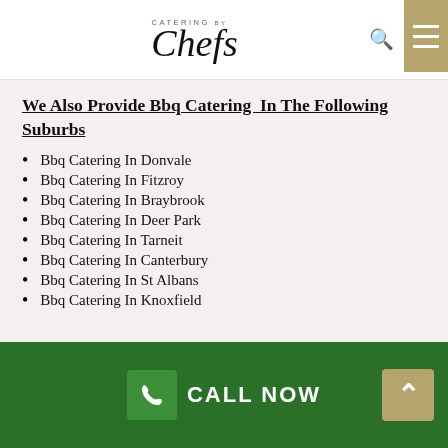Catering by Chefs
We Also Provide Bbq Catering  In The Following Suburbs
Bbq Catering In Donvale
Bbq Catering In Fitzroy
Bbq Catering In Braybrook
Bbq Catering In Deer Park
Bbq Catering In Tarneit
Bbq Catering In Canterbury
Bbq Catering In St Albans
Bbq Catering In Knoxfield
CALL NOW